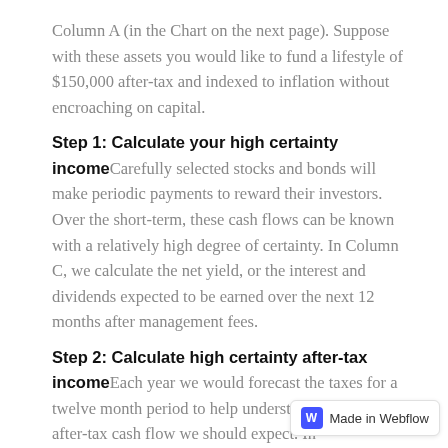Column A (in the Chart on the next page). Suppose with these assets you would like to fund a lifestyle of $150,000 after-tax and indexed to inflation without encroaching on capital.
Step 1: Calculate your high certainty income Carefully selected stocks and bonds will make periodic payments to reward their investors. Over the short-term, these cash flows can be known with a relatively high degree of certainty. In Column C, we calculate the net yield, or the interest and dividends expected to be earned over the next 12 months after management fees.
Step 2: Calculate high certainty after-tax income Each year we would forecast the taxes for a twelve month period to help understand the level of after-tax cash flow we should expect. In